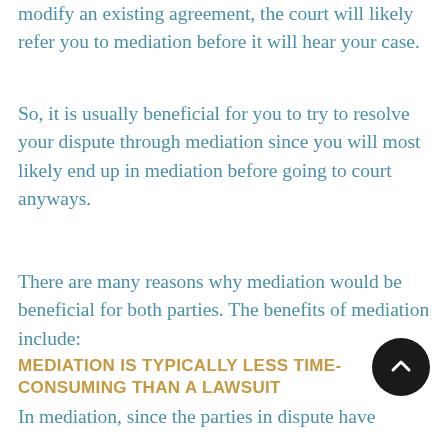modify an existing agreement, the court will likely refer you to mediation before it will hear your case.
So, it is usually beneficial for you to try to resolve your dispute through mediation since you will most likely end up in mediation before going to court anyways.
There are many reasons why mediation would be beneficial for both parties. The benefits of mediation include:
MEDIATION IS TYPICALLY LESS TIME-CONSUMING THAN A LAWSUIT
In mediation, since the parties in dispute have